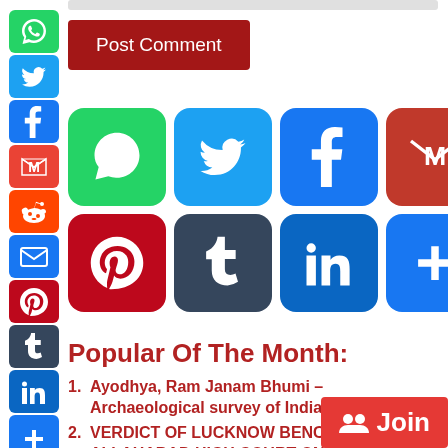[Figure (screenshot): Post Comment button with dark red background and white text]
[Figure (infographic): Social media sharing icons grid: WhatsApp, Twitter, Facebook, Gmail, Reddit, Email (row 1); Pinterest, Tumblr, LinkedIn, More/Plus (row 2)]
[Figure (infographic): Left sidebar social media icons: WhatsApp, Twitter, Facebook, Gmail, Reddit, Email, Pinterest, Tumblr, LinkedIn, More]
Popular Of The Month:
Ayodhya, Ram Janam Bhumi – Archaeological survey of India report
VERDICT OF LUCKNOW BENCH OF ALLAHABAD HIGH COURT ON SRI RAMA JANMA BHUMI BASED ON FACT...
[Figure (screenshot): Join button with red background, group icon and 'Join' text at bottom right]